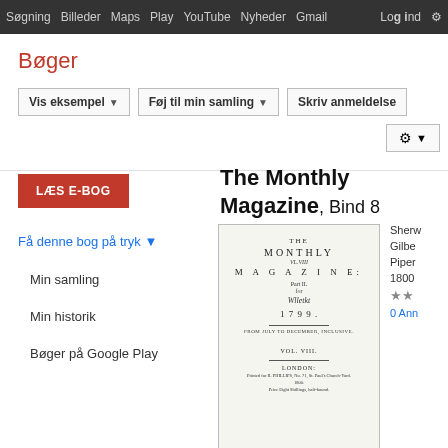Søgning  Billeder  Maps  Play  YouTube  Nyheder  Gmail  Log ind  Mere
Bøger
Vis eksempel ▼  Føj til min samling ▼  Skriv anmeldelse
LÆS E-BOG
The Monthly Magazine, Bind 8
Få denne bog på tryk ▼
Min samling
Min historik
Bøger på Google Play
[Figure (illustration): Scanned cover page of The Monthly Magazine, Vol. VIII, 1799, published in London. Shows title text, Part II, handwritten script, year 1799, VOL. VIII label, London imprint, publisher information, and a curled corner.]
Sherw
Gilbe
Piper
1800
★★
0 Ann